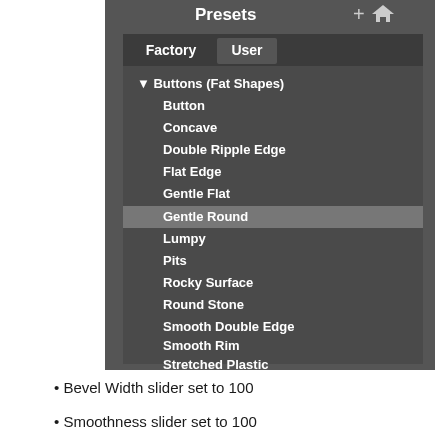[Figure (screenshot): A software UI panel titled 'Presets' showing a tree list. There are two tabs: 'Factory' (selected) and 'User'. The tree shows 'Buttons (Fat Shapes)' expanded with items: Button, Concave, Double Ripple Edge, Flat Edge, Gentle Flat, Gentle Round (highlighted/selected), Lumpy, Pits, Rocky Surface, Round Stone, Smooth Double Edge, Smooth Rim, Stretched Plastic. Below are collapsed groups: 'Outside Bevel' and 'Text (Thin Shapes)'. Top-right has a '+' and home icon.]
Bevel Width slider set to 100
Smoothness slider set to 100
Default lighting